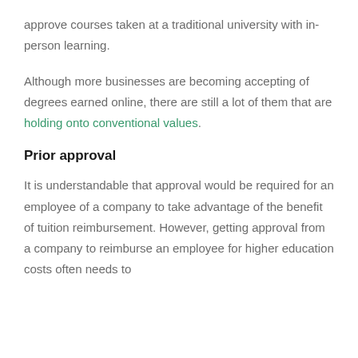approve courses taken at a traditional university with in-person learning.
Although more businesses are becoming accepting of degrees earned online, there are still a lot of them that are holding onto conventional values.
Prior approval
It is understandable that approval would be required for an employee of a company to take advantage of the benefit of tuition reimbursement. However, getting approval from a company to reimburse an employee for higher education costs often needs to